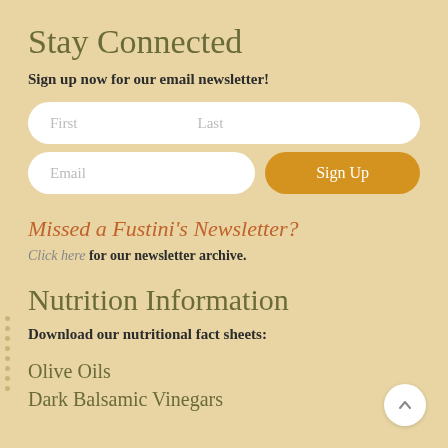Stay Connected
Sign up now for our email newsletter!
[Figure (other): Email newsletter signup form with First/Last name field, Email field, and Sign Up button]
Missed a Fustini's Newsletter?
Click here for our newsletter archive.
Nutrition Information
Download our nutritional fact sheets:
Olive Oils
Dark Balsamic Vinegars